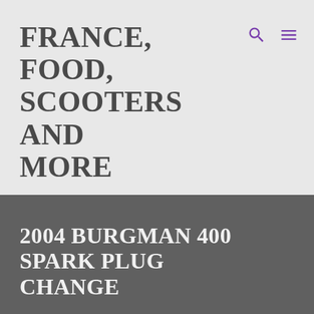FRANCE, FOOD, SCOOTERS AND MORE
MUSINGS OF AN EXPAT AMERICAN
HOME   More...
2004 BURGMAN 400 SPARK PLUG CHANGE